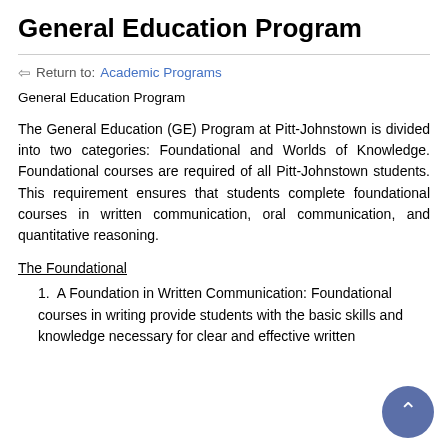General Education Program
Return to: Academic Programs
General Education Program
The General Education (GE) Program at Pitt-Johnstown is divided into two categories: Foundational and Worlds of Knowledge. Foundational courses are required of all Pitt-Johnstown students. This requirement ensures that students complete foundational courses in written communication, oral communication, and quantitative reasoning.
The Foundational
A Foundation in Written Communication: Foundational courses in writing provide students with the basic skills and knowledge necessary for clear and effective written